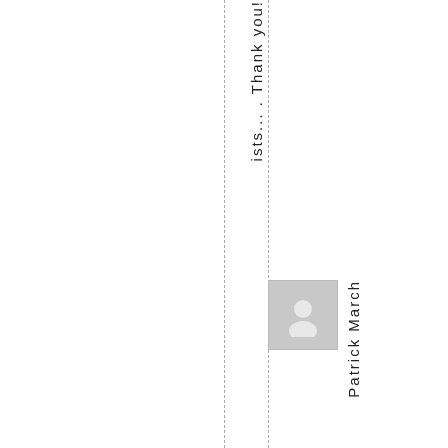ists... . Thank you!
[Figure (photo): Default user avatar placeholder image - grey square with white person silhouette icon]
Patrick March